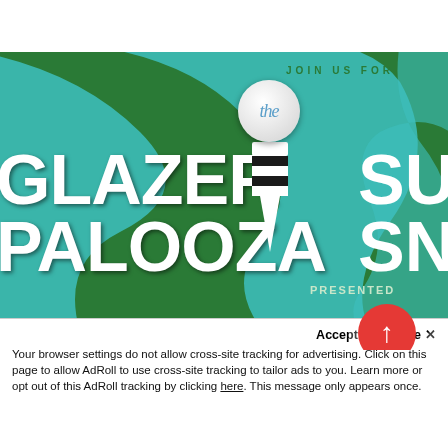[Figure (photo): Golf event promotional poster for 'Glazer Palooza' on a green grass background with teal swirl design, golf ball and tee graphic, partial text reading 'JOIN US FOR the', 'GLAZER PALOOZA', 'SU SN', 'PRESENTED', and 'SUPER BOW' at bottom. Red circle with upward arrow in bottom right.]
Accept and Close ✕
Your browser settings do not allow cross-site tracking for advertising. Click on this page to allow AdRoll to use cross-site tracking to tailor ads to you. Learn more or opt out of this AdRoll tracking by clicking here. This message only appears once.